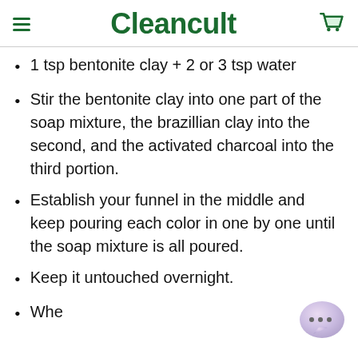Cleancult
1 tsp bentonite clay + 2 or 3 tsp water
Stir the bentonite clay into one part of the soap mixture, the brazillian clay into the second, and the activated charcoal into the third portion.
Establish your funnel in the middle and keep pouring each color in one by one until the soap mixture is all poured.
Keep it untouched overnight.
When the mixture...